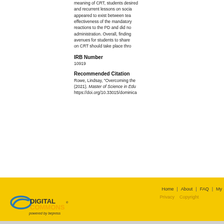meaning of CRT, students desired and recurrent lessons on social justice appeared to exist between teachers' effectiveness of the mandatory reactions to the PD and did not administration. Overall, findings avenues for students to share on CRT should take place through
IRB Number
10919
Recommended Citation
Rowe, Lindsay, "Overcoming the (2021). Master of Science in Education. https://doi.org/10.33015/dominica
Home | About | FAQ | My Account | Privacy | Copyright | Digital Commons powered by bepress